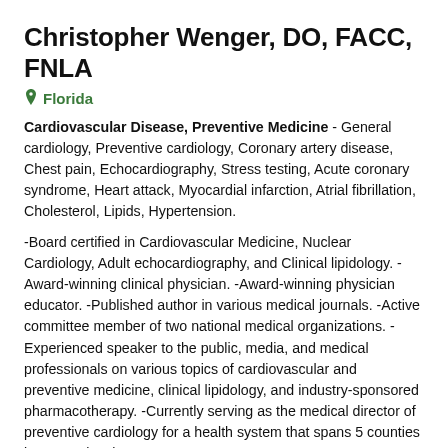Christopher Wenger, DO, FACC, FNLA
Florida
Cardiovascular Disease, Preventive Medicine - General cardiology, Preventive cardiology, Coronary artery disease, Chest pain, Echocardiography, Stress testing, Acute coronary syndrome, Heart attack, Myocardial infarction, Atrial fibrillation, Cholesterol, Lipids, Hypertension.
-Board certified in Cardiovascular Medicine, Nuclear Cardiology, Adult echocardiography, and Clinical lipidology. -Award-winning clinical physician. -Award-winning physician educator. -Published author in various medical journals. -Active committee member of two national medical organizations. -Experienced speaker to the public, media, and medical professionals on various topics of cardiovascular and preventive medicine, clinical lipidology, and industry-sponsored pharmacotherapy. -Currently serving as the medical director of preventive cardiology for a health system that spans 5 counties in Pennsylvania.